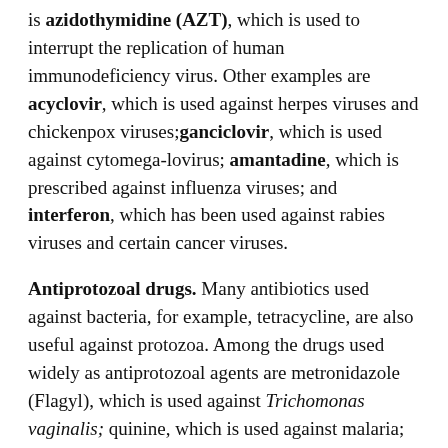is azidothymidine (AZT), which is used to interrupt the replication of human immunodeficiency virus. Other examples are acyclovir, which is used against herpes viruses and chickenpox viruses; ganciclovir, which is used against cytomega-lovirus; amantadine, which is prescribed against influenza viruses; and interferon, which has been used against rabies viruses and certain cancer viruses.
Antiprotozoal drugs. Many antibiotics used against bacteria, for example, tetracycline, are also useful against protozoa. Among the drugs used widely as antiprotozoal agents are metronidazole (Flagyl), which is used against Trichomonas vaginalis; quinine, which is used against malaria; and pentamidine isethionate, which is valuable against Pneumocystis carinii.
Drug resistance. Over the past decades, drug-resistant strains have developed in bacteria. These strains